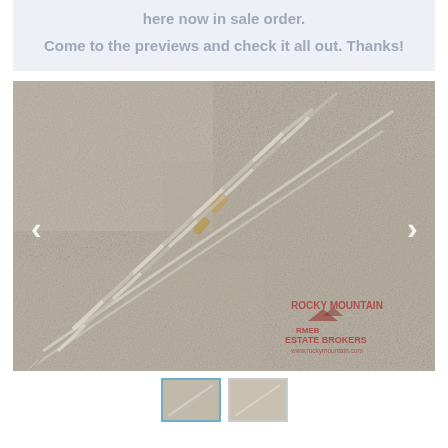here now in sale order.
Come to the previews and check it all out.  Thanks!
[Figure (photo): Photo of two long drill bits/auger bits laid diagonally on a concrete surface, with Rocky Mountain Estate Brokers watermark in lower right corner. Navigation arrows visible on left and right sides.]
[Figure (photo): Thumbnail of the same drill bits photo (active, selected)]
[Figure (photo): Thumbnail of a second image showing drill bits from another angle]